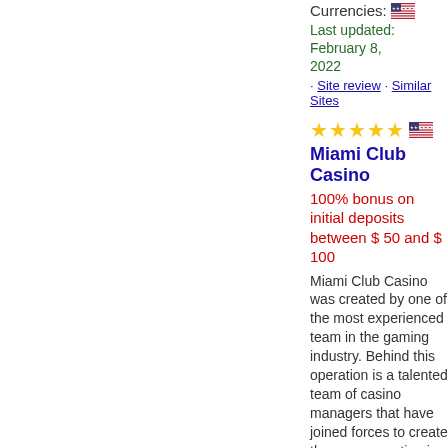Currencies:
Last updated: February 8, 2022
- Site review - Similar Sites
Miami Club Casino
100% bonus on initial deposits between $ 50 and $ 100
Miami Club Casino was created by one of the most experienced team in the gaming industry. Behind this operation is a talented team of casino managers that have joined forces to create the new sensation in online gaming. Our ambition is to make Miami ...
Languages:
Currencies:
Last updated: February 8, 2022
- Site review - Similar Sites
[Figure (other): 5 gold stars and a flag icon at the bottom of the page]